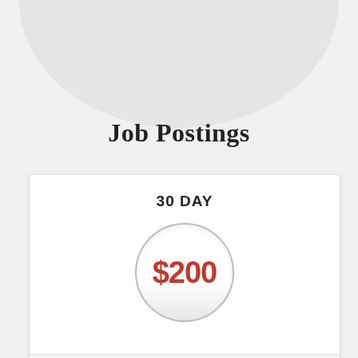Job Postings
30 DAY
$200
SUBMIT JOBS